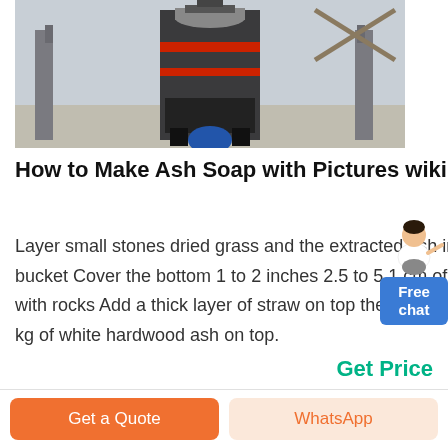[Figure (photo): Industrial machinery/press equipment photo, large dark machine with metal frame, industrial setting]
How to Make Ash Soap with Pictures wikiHow
Layer small stones dried grass and the extracted ash into the bucket Cover the bottom 1 to 2 inches 2.5 to 5.1 cm of the bucket with rocks Add a thick layer of straw on top then place 10 cups 1.44 kg of white hardwood ash on top.
Get Price
Get a Quote
WhatsApp